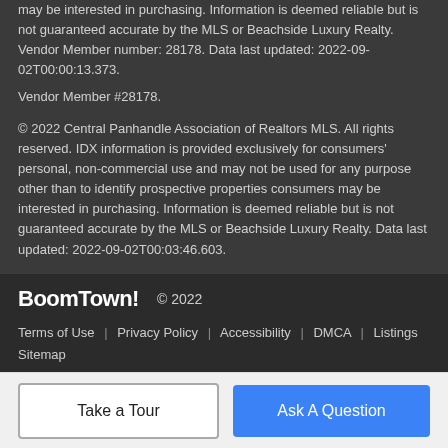may be interested in purchasing. Information is deemed reliable but is not guaranteed accurate by the MLS or Beachside Luxury Realty. Vendor Member number: 28178. Data last updated: 2022-09-02T00:00:13.373.
Vendor Member #28178.
© 2022 Central Panhandle Association of Realtors MLS. All rights reserved. IDX information is provided exclusively for consumers' personal, non-commercial use and may not be used for any purpose other than to identify prospective properties consumers may be interested in purchasing. Information is deemed reliable but is not guaranteed accurate by the MLS or Beachside Luxury Realty. Data last updated: 2022-09-02T00:03:46.603.
BoomTown! © 2022
Terms of Use | Privacy Policy | Accessibility | DMCA | Listings Sitemap
Take a Tour    Ask A Question